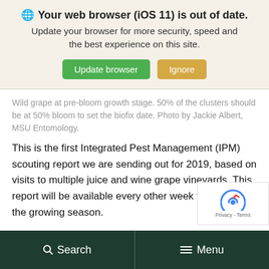🔵 Your web browser (iOS 11) is out of date. Update your browser for more security, speed and the best experience on this site. [Update browser] [Ignore]
Wild grape at pre-bloom growth stage. 50% of the clusters should be at 50% bloom to set the biofix date. Photo by Jackie Albert, MSU Entomology.
This is the first Integrated Pest Management (IPM) scouting report we are sending out for 2019, based on visits to multiple juice and wine grape vineyards. This report will be available every other week throughout the growing season.
Search  Menu